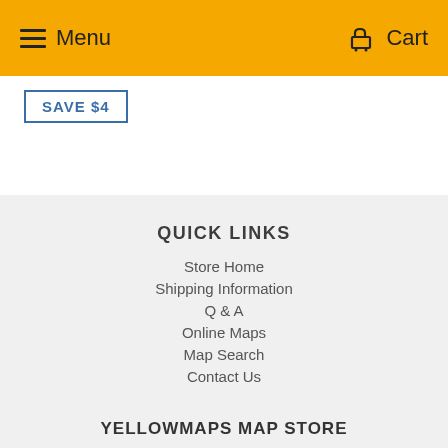Menu   Cart
SAVE $4
QUICK LINKS
Store Home
Shipping Information
Q & A
Online Maps
Map Search
Contact Us
YELLOWMAPS MAP STORE